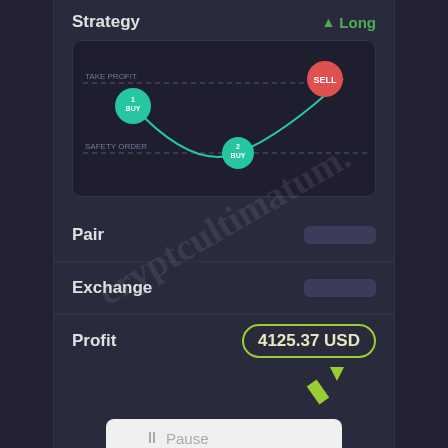Strategy
Long
[Figure (infographic): Trading strategy chart showing a price curve with Buy point 1 at top-left, Safety Order Buy point 2 at bottom-middle, and SELL at top-right. Dashed horizontal lines mark TAKE PROFIT and SAFETY ORDER levels.]
Pair
Exchange
Profit
4125.37 USD
Pause